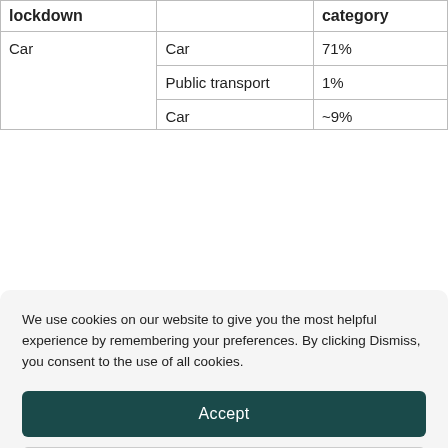| lockdown |  | category |
| --- | --- | --- |
| Car | Car | 71% |
|  | Public transport | 1% |
|  | Car | ~9% |
We use cookies on our website to give you the most helpful experience by remembering your preferences. By clicking Dismiss, you consent to the use of all cookies.